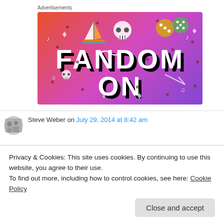Advertisements
[Figure (illustration): Fandom On advertisement banner with gradient background (orange to purple) featuring cartoon icons (sailboat, skull, dice) and bold text reading FANDOM ON]
Steve Weber on July 29, 2014 at 8:42 am
Privacy & Cookies: This site uses cookies. By continuing to use this website, you agree to their use.
To find out more, including how to control cookies, see here: Cookie Policy
a great help. My parent entity is too large to